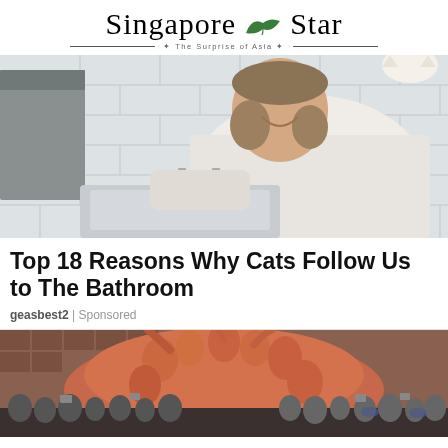Singapore Star — The Surprise of Asia
[Figure (photo): A man in a white shirt washing hands or cleaning at a white tiled bathroom sink, smiling at the camera. A gray towel hangs in background. A cat is partially visible at top right.]
Top 18 Reasons Why Cats Follow Us to The Bathroom
geasbest2 | Sponsored
[Figure (photo): A large orange/terracotta sculpture of intertwined human figures, with a crowd of masked people photographing it in the background in front of a building.]